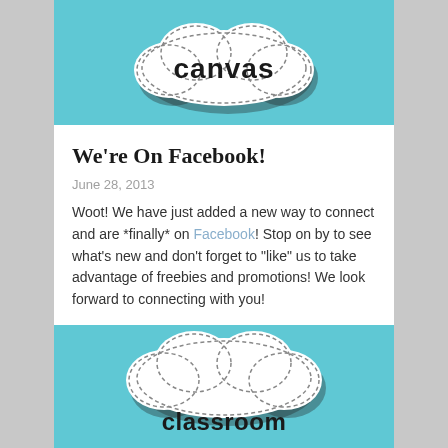[Figure (illustration): Top portion of a teal/cyan background image showing a white cloud shape with dashed border outline and partial text 'canvas' in bold black letters, partially cropped at top]
We're On Facebook!
June 28, 2013
Woot!  We have just added a new way to connect and are *finally* on Facebook!  Stop on by to see what's new and don't forget to "like" us to take advantage of freebies and promotions!  We look forward to connecting with you!
[Figure (illustration): Bottom portion of a teal/cyan background image showing a white cloud shape with dashed border outline and text 'classroom' in bold black letters, partially cropped at bottom]